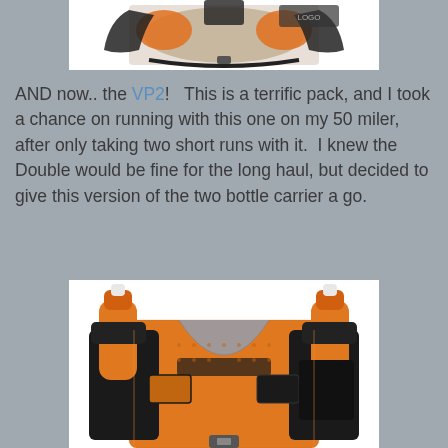[Figure (photo): Close-up photo of a running vest/pack with black straps and orange accents, viewed from above/front.]
AND now.. the VP2!   This is a terrific pack, and I took a chance on running with this one on my 50 miler, after only taking two short runs with it.  I knew the Double would be fine for the long haul, but decided to give this version of the two bottle carrier a go.
[Figure (photo): Photo of an orange and black running hydration vest (VP2) showing two front-mounted water bottles, mesh body panels, and storage pockets.]